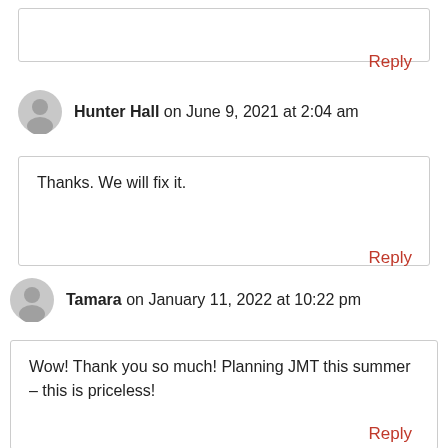[partial comment box at top]
Reply
Hunter Hall on June 9, 2021 at 2:04 am
Thanks. We will fix it.
Reply
Tamara on January 11, 2022 at 10:22 pm
Wow! Thank you so much! Planning JMT this summer – this is priceless!
Reply